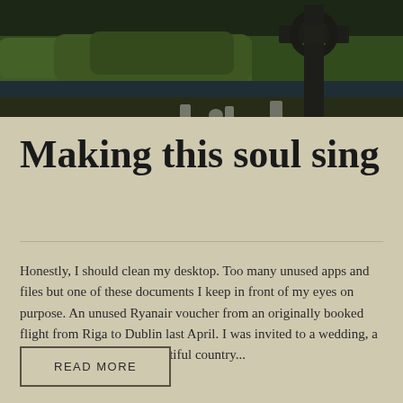[Figure (photo): Landscape photograph showing green forested hills and trees with a dark stone Celtic cross monument in the foreground right, and a body of water visible in the background. Gravestones visible at bottom.]
Making this soul sing
Honestly, I should clean my desktop. Too many unused apps and files but one of these documents I keep in front of my eyes on purpose. An unused Ryanair voucher from an originally booked flight from Riga to Dublin last April. I was invited to a wedding, a real Irish wedding at a beautiful country...
READ MORE